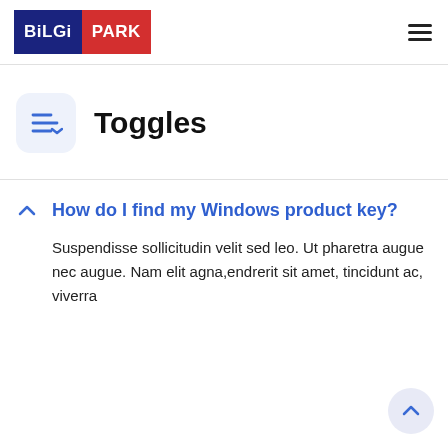[Figure (logo): BiLGi PARK logo with blue background for BiLGi and red background for PARK text]
Toggles
How do I find my Windows product key?
Suspendisse sollicitudin velit sed leo. Ut pharetra augue nec augue. Nam elit agna,endrerit sit amet, tincidunt ac, viverra